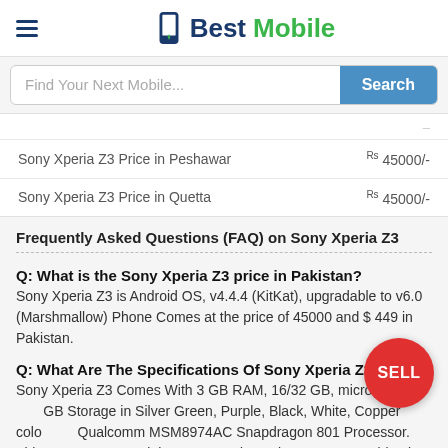BestMobile
| Location | Price |
| --- | --- |
| Sony Xperia Z3 Price in Peshawar | Rs 45000/- |
| Sony Xperia Z3 Price in Quetta | Rs 45000/- |
Frequently Asked Questions (FAQ) on Sony Xperia Z3
Q: What is the Sony Xperia Z3 price in Pakistan?
Sony Xperia Z3 is Android OS, v4.4.4 (KitKat), upgradable to v6.0 (Marshmallow) Phone Comes at the price of 45000 and $ 449 in Pakistan.
Q: What Are The Specifications Of Sony Xperia Z3?
Sony Xperia Z3 Comes With 3 GB RAM, 16/32 GB, microSD, up to 256 GB Storage in Silver Green, Purple, Black, White, Copper color and Qualcomm MSM8974AC Snapdragon 801 Processor. This Smartphone Weights 152 g and carrying Non-removable Li-Ion 3100 mAh battery